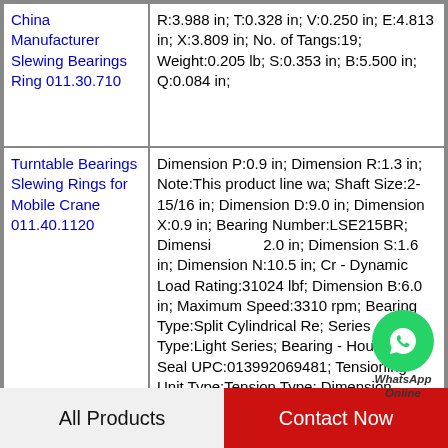| Product | Specifications |
| --- | --- |
| China Manufacturer Slewing Bearings Ring 011.30.710 | R:3.988 in; T:0.328 in; V:0.250 in; E:4.813 in; X:3.809 in; No. of Tangs:19; Weight:0.205 lb; S:0.353 in; B:5.500 in; Q:0.084 in; |
| Turntable Bearings Slewing Rings for Mobile Crane 011.40.1120 | Dimension P:0.9 in; Dimension R:1.3 in; Note:This product line wa; Shaft Size:2-15/16 in; Dimension D:9.0 in; Dimension X:0.9 in; Bearing Number:LSE215BR; Dimension _:2.0 in; Dimension S:1.6 in; Dimension N:10.5 in; Cr - Dynamic Load Rating:31024 lbf; Dimension B:6.0 in; Maximum Speed:3310 rpm; Bearing Type:Split Cylindrical Re; Series Type:Light Series; Bearing - Housing - Seal UPC:013992069481; Tensioning Unit Type:Tension Type; Dimension ... |
[Figure (logo): WhatsApp Online badge - green circle with phone icon, text 'WhatsApp Online']
All Products    Contact Now